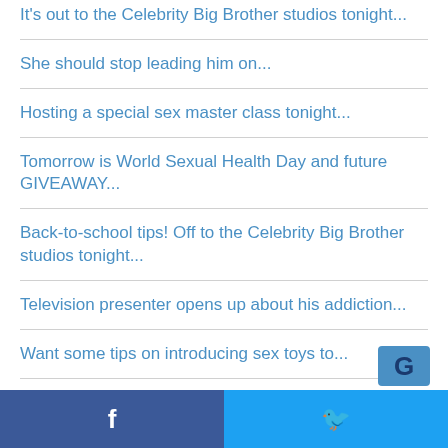It's out to the Celebrity Big Brother studios tonight...
She should stop leading him on...
Hosting a special sex master class tonight...
Tomorrow is World Sexual Health Day and future GIVEAWAY...
Back-to-school tips! Off to the Celebrity Big Brother studios tonight...
Television presenter opens up about his addiction...
Want some tips on introducing sex toys to...